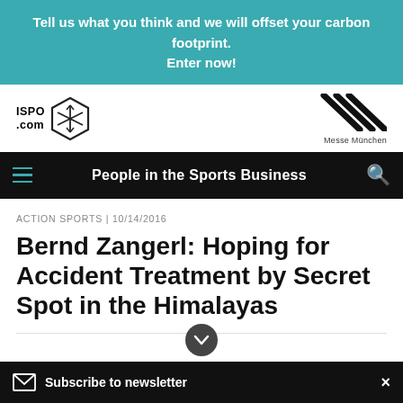Tell us what you think and we will offset your carbon footprint. Enter now!
[Figure (logo): ISPO.com logo with hexagonal snowflake icon on the left, and Messe München logo with diagonal stripes on the right]
People in the Sports Business
ACTION SPORTS | 10/14/2016
Bernd Zangerl: Hoping for Accident Treatment by Secret Spot in the Himalayas
Subscribe to newsletter